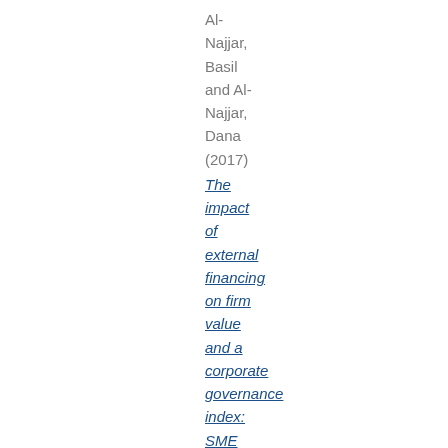Al-Najjar, Basil and Al-Najjar, Dana (2017)
The impact of external financing on firm value and a corporate governance index: SME evidence.
Journal